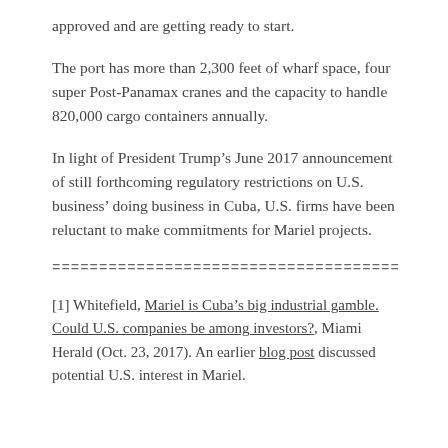approved and are getting ready to start.
The port has more than 2,300 feet of wharf space, four super Post-Panamax cranes and the capacity to handle 820,000 cargo containers annually.
In light of President Trump’s June 2017 announcement of still forthcoming regulatory restrictions on U.S. business’ doing business in Cuba, U.S. firms have been reluctant to make commitments for Mariel projects.
=====================================
[1] Whitefield, Mariel is Cuba’s big industrial gamble. Could U.S. companies be among investors?, Miami Herald (Oct. 23, 2017). An earlier blog post discussed potential U.S. interest in Mariel.